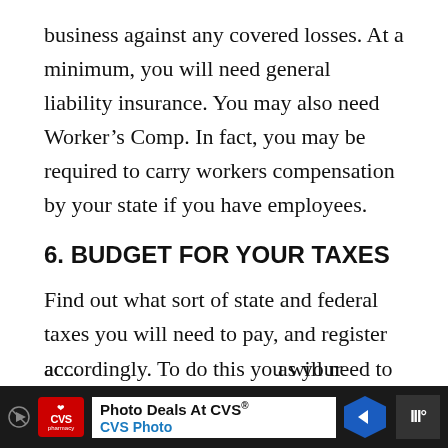business against any covered losses. At a minimum, you will need general liability insurance. You may also need Worker's Comp. In fact, you may be required to carry workers compensation by your state if you have employees.
6. BUDGET FOR YOUR TAXES
Find out what sort of state and federal taxes you will need to pay, and register accordingly. To do this you will need to go to the IRS website and ac... as your
[Figure (other): Advertisement banner for CVS Photo with text 'Photo Deals At CVS®' and 'CVS Photo', showing CVS pharmacy logo, a play button, a blue arrow navigation icon, and a partially visible logo on the right.]